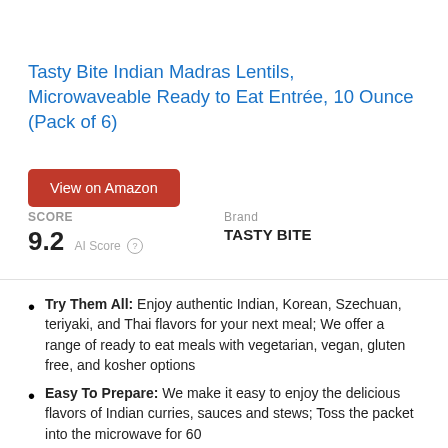[Figure (photo): Partial product image of Tasty Bite Indian Madras Lentils package (gold/yellow packaging), cropped at top]
Tasty Bite Indian Madras Lentils, Microwaveable Ready to Eat Entrée, 10 Ounce (Pack of 6)
View on Amazon
SCORE
9.2  AI Score
Brand
TASTY BITE
Try Them All: Enjoy authentic Indian, Korean, Szechuan, teriyaki, and Thai flavors for your next meal; We offer a range of ready to eat meals with vegetarian, vegan, gluten free, and kosher options
Easy To Prepare: We make it easy to enjoy the delicious flavors of Indian curries, sauces and stews; Toss the packet into the microwave for 60